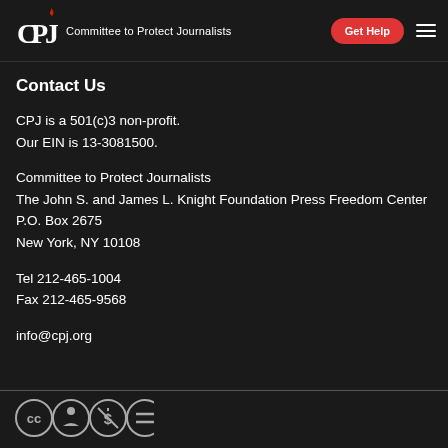CPJ Committee to Protect Journalists | Get Help
Contact Us
CPJ is a 501(c)3 non-profit.
Our EIN is 13-3081500.
Committee to Protect Journalists
The John S. and James L. Knight Foundation Press Freedom Center
P.O. Box 2675
New York, NY 10108
Tel 212-465-1004
Fax 212-465-9568
info@cpj.org
[Figure (logo): Creative Commons license icons: CC, person, dollar, equals signs in circles]